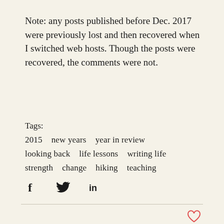Note: any posts published before Dec. 2017 were previously lost and then recovered when I switched web hosts. Though the posts were recovered, the comments were not.
Tags:
2015   new years   year in review
looking back   life lessons   writing life
strength   change   hiking   teaching
[Figure (other): Social sharing icons: Facebook (f), Twitter (bird), LinkedIn (in)]
[Figure (other): Heart/like icon in red outline at bottom right]